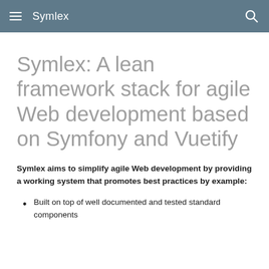Symlex
Symlex: A lean framework stack for agile Web development based on Symfony and Vuetify
Symlex aims to simplify agile Web development by providing a working system that promotes best practices by example:
Built on top of well documented and tested standard components